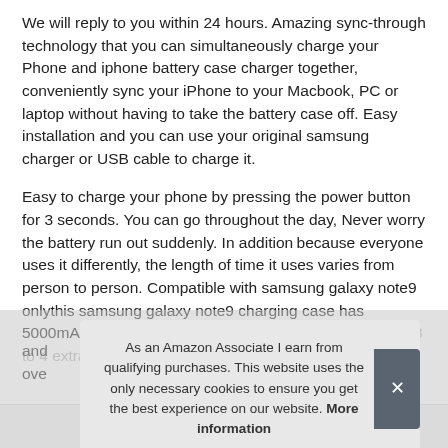We will reply to you within 24 hours. Amazing sync-through technology that you can simultaneously charge your Phone and iphone battery case charger together, conveniently sync your iPhone to your Macbook, PC or laptop without having to take the battery case off. Easy installation and you can use your original samsung charger or USB cable to charge it.
Easy to charge your phone by pressing the power button for 3 seconds. You can go throughout the day, Never worry the battery run out suddenly. In addition—because everyone uses it differently, the length of time it uses varies from person to person. Compatible with samsung galaxy note9 onlythis samsung galaxy note9 charging case has 5000mAh powerful pro... and ... ove...
As an Amazon Associate I earn from qualifying purchases. This website uses the only necessary cookies to ensure you get the best experience on our website. More information
| Brand |
| --- |
| AEDLYK |